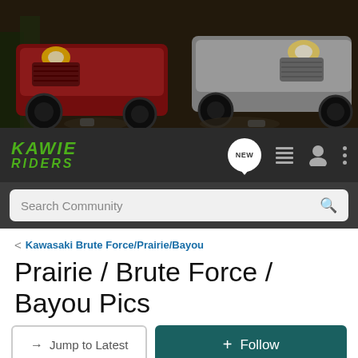[Figure (photo): Hero banner showing two ATVs (one red, one silver/white) on a rocky outdoor trail with forest background — Kawasaki branding image]
[Figure (logo): Kawie Riders community logo in green italic text on dark background, with navigation icons: NEW bubble, list icon, user icon, more options icon]
Search Community
< Kawasaki Brute Force/Prairie/Bayou
Prairie / Brute Force / Bayou Pics
→ Jump to Latest
+ Follow
3301 - 3320 of 3357 Posts
166 of 168
Swanny52 · Premium Member 🇺🇸